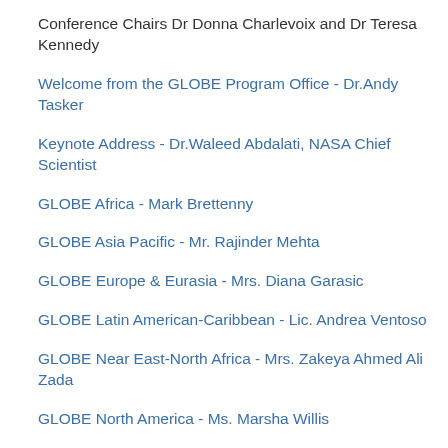Conference Chairs Dr Donna Charlevoix and Dr Teresa Kennedy
Welcome from the GLOBE Program Office - Dr.Andy Tasker
Keynote Address - Dr.Waleed Abdalati, NASA Chief Scientist
GLOBE Africa - Mark Brettenny
GLOBE Asia Pacific - Mr. Rajinder Mehta
GLOBE Europe & Eurasia - Mrs. Diana Garasic
GLOBE Latin American-Caribbean - Lic. Andrea Ventoso
GLOBE Near East-North Africa - Mrs. Zakeya Ahmed Ali Zada
GLOBE North America - Ms. Marsha Willis